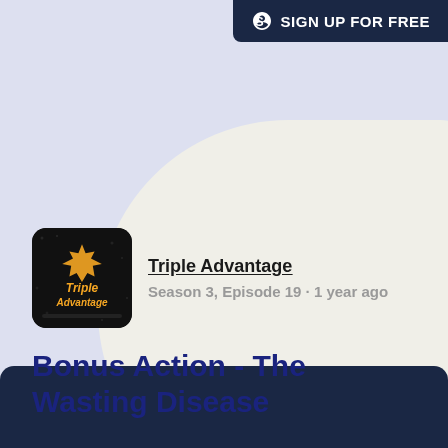[Figure (screenshot): Sign up for free button with Substack logo icon in dark navy blue]
[Figure (logo): Triple Advantage podcast thumbnail — dark background with orange text 'Triple Advantage' and maple leaf icon]
Triple Advantage
Season 3, Episode 19 · 1 year ago
Bonus Action - The Wasting Disease